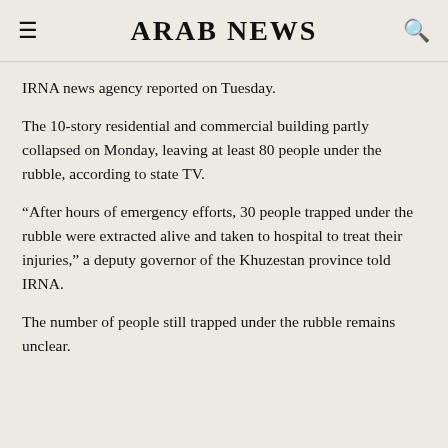ARAB NEWS
IRNA news agency reported on Tuesday.
The 10-story residential and commercial building partly collapsed on Monday, leaving at least 80 people under the rubble, according to state TV.
“After hours of emergency efforts, 30 people trapped under the rubble were extracted alive and taken to hospital to treat their injuries,” a deputy governor of the Khuzestan province told IRNA.
The number of people still trapped under the rubble remains unclear.